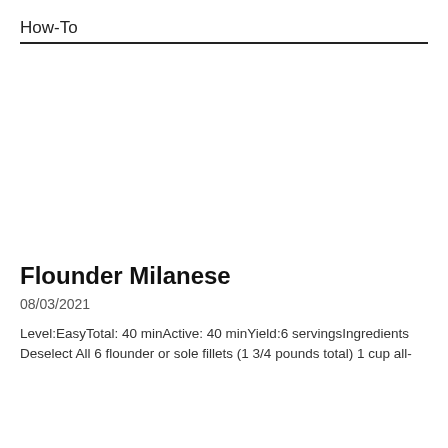How-To
Flounder Milanese
08/03/2021
Level:EasyTotal: 40 minActive: 40 minYield:6 servingsIngredients Deselect All 6 flounder or sole fillets (1 3/4 pounds total) 1 cup all-